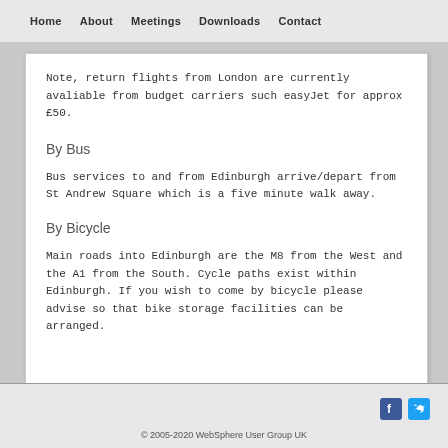Home   About   Meetings   Downloads   Contact
airport. The airport is a 20-30 minute car drive from the city centre.
Note, return flights from London are currently avaliable from budget carriers such easyJet for approx £50.
By Bus
Bus services to and from Edinburgh arrive/depart from St Andrew Square which is a five minute walk away.
By Bicycle
Main roads into Edinburgh are the M8 from the West and the A1 from the South. Cycle paths exist within Edinburgh. If you wish to come by bicycle please advise so that bike storage facilities can be arranged.
© 2005-2020 WebSphere User Group UK